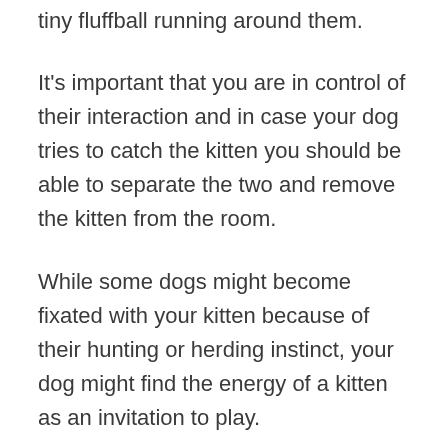tiny fluffball running around them.
It's important that you are in control of their interaction and in case your dog tries to catch the kitten you should be able to separate the two and remove the kitten from the room.
While some dogs might become fixated with your kitten because of their hunting or herding instinct, your dog might find the energy of a kitten as an invitation to play.
The main worry in this type of interaction is keeping your kitten safe since your dog might not be aware of how fragile they are and how much strength lies in their paw, especially if they are a large breed.